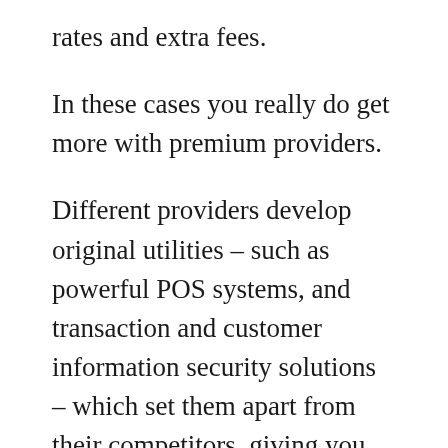rates and extra fees.
In these cases you really do get more with premium providers.
Different providers develop original utilities – such as powerful POS systems, and transaction and customer information security solutions – which set them apart from their competitors, giving you certain unique advantages.
These features are unique, and by paying more to have access to them,